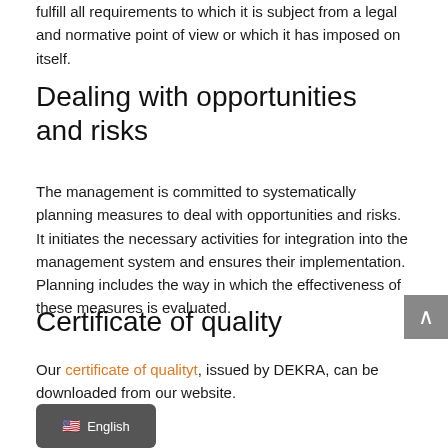fulfill all requirements to which it is subject from a legal and normative point of view or which it has imposed on itself.
Dealing with opportunities and risks
The management is committed to systematically planning measures to deal with opportunities and risks. It initiates the necessary activities for integration into the management system and ensures their implementation. Planning includes the way in which the effectiveness of these measures is evaluated.
Certificate of quality
Our certificate of qualityt, issued by DEKRA, can be downloaded from our website.
English